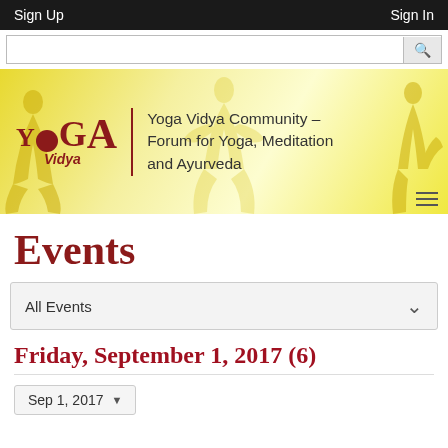Sign Up    Sign In
[Figure (screenshot): Yoga Vidya Community website banner with logo, tagline, and yoga silhouettes on yellow background]
Events
All Events
Friday, September 1, 2017 (6)
Sep 1, 2017